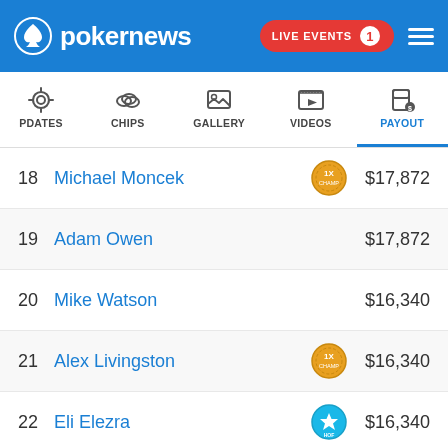pokernews — LIVE EVENTS 1
UPDATES | CHIPS | GALLERY | VIDEOS | PAYOUTS
| Rank | Player | Badge | Payout |
| --- | --- | --- | --- |
| 18 | Michael Moncek | 1x | $17,872 |
| 19 | Adam Owen |  | $17,872 |
| 20 | Mike Watson |  | $16,340 |
| 21 | Alex Livingston | 1x | $16,340 |
| 22 | Eli Elezra | HoF | $16,340 |